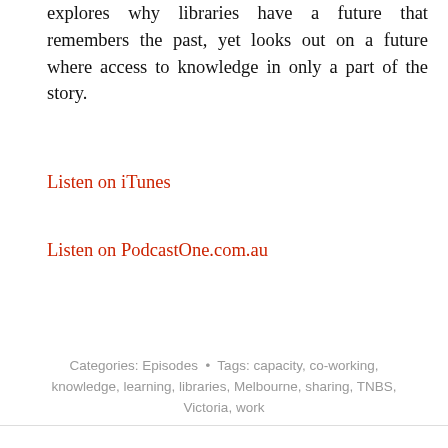explores why libraries have a future that remembers the past, yet looks out on a future where access to knowledge in only a part of the story.
Listen on iTunes
Listen on PodcastOne.com.au
Categories: Episodes  •  Tags: capacity, co-working, knowledge, learning, libraries, Melbourne, sharing, TNBS, Victoria, work